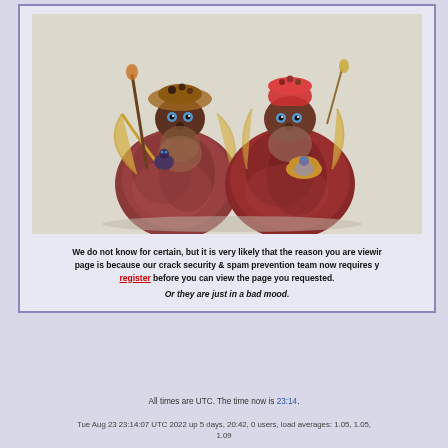[Figure (photo): Two fuzzy creature figurines made from natural materials with blue eyes, wild hair-like fibers, and decorative elements. They appear to be handcrafted art dolls or sculptures on a light background.]
We do not know for certain, but it is very likely that the reason you are viewing this page is because our crack security & spam prevention team now requires you to register before you can view the page you requested.
Or they are just in a bad mood.
All times are UTC. The time now is 23:14.
Tue Aug 23 23:14:07 UTC 2022 up 5 days, 20:42, 0 users, load averages: 1.05, 1.05, 1.09